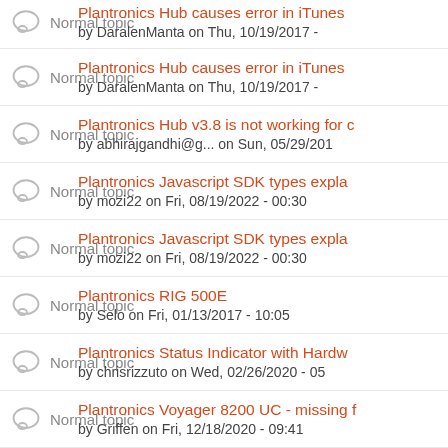Normal topic | Plantronics Hub causes error in iTunes | by DaralenManta on Thu, 10/19/2017 -
Normal topic | Plantronics Hub causes error in iTunes | by DaralenManta on Thu, 10/19/2017 -
Normal topic | Plantronics Hub v3.8 is not working for c | by abhirajgandhi@g... on Sun, 05/29/201
Normal topic | Plantronics Javascript SDK types expla | by mozi22 on Fri, 08/19/2022 - 00:30
Normal topic | Plantronics Javascript SDK types expla | by mozi22 on Fri, 08/19/2022 - 00:30
Normal topic | Plantronics RIG 500E | by Selo on Fri, 01/13/2017 - 10:05
Normal topic | Plantronics Status Indicator with Hardw | by chrisrizzuto on Wed, 02/26/2020 - 05
Normal topic | Plantronics Voyager 8200 UC - missing f | by Griffen on Fri, 12/18/2020 - 09:41